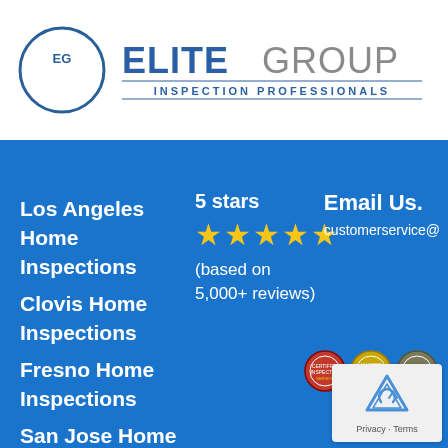[Figure (logo): Elite Group Inspection Professionals logo with EG monogram in circle and company name text]
[Figure (other): Hamburger menu icon (three horizontal lines) in blue]
Los Angeles Home Inspections
Clovis Home Inspections
Fresno Home Inspections
San Jose Home Inspections
5 stars ★★★★★ (based on 5,000+ reviews)
Email Us. customerservice@
[Figure (other): Three certification/award badge seals]
[Figure (other): reCAPTCHA privacy widget with Google logo, Privacy and Terms links]